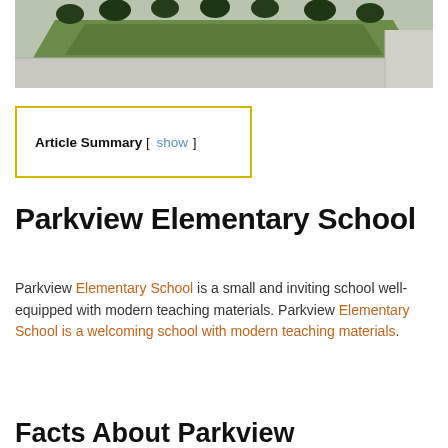[Figure (photo): Exterior photo of Parkview Elementary School showing shrubs, green lawn area, and pavement driveway]
Article Summary  [ show ]
Parkview Elementary School
Parkview Elementary School is a small and inviting school well-equipped with modern teaching materials. Parkview Elementary School is a welcoming school with modern teaching materials.
Facts About Parkview